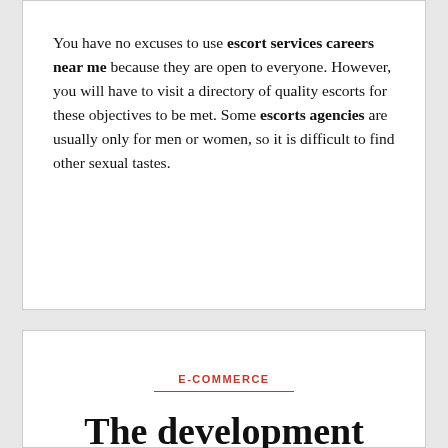You have no excuses to use escort services careers near me because they are open to everyone. However, you will have to visit a directory of quality escorts for these objectives to be met. Some escorts agencies are usually only for men or women, so it is difficult to find other sexual tastes.
E-COMMERCE
The development trend of